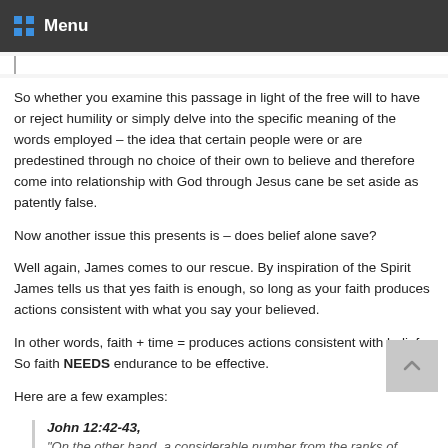Menu
So whether you examine this passage in light of the free will to have or reject humility or simply delve into the specific meaning of the words employed – the idea that certain people were or are predestined through no choice of their own to believe and therefore come into relationship with God through Jesus cane be set aside as patently false.
Now another issue this presents is – does belief alone save?
Well again, James comes to our rescue. By inspiration of the Spirit James tells us that yes faith is enough, so long as your faith produces actions consistent with what you say your believed.
In other words, faith + time = produces actions consistent with belief. So faith NEEDS endurance to be effective.
Here are a few examples:
John 12:42-43,
"On the other hand, a considerable number from the ranks of